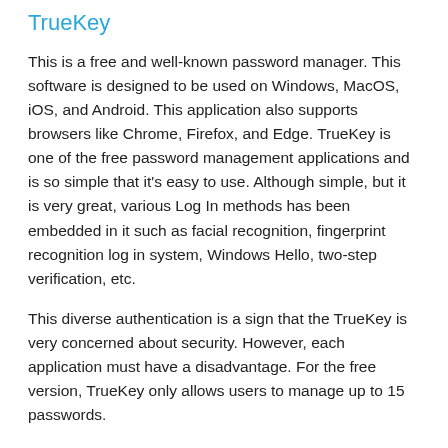TrueKey
This is a free and well-known password manager. This software is designed to be used on Windows, MacOS, iOS, and Android. This application also supports browsers like Chrome, Firefox, and Edge. TrueKey is one of the free password management applications and is so simple that it's easy to use. Although simple, but it is very great, various Log In methods has been embedded in it such as facial recognition, fingerprint recognition log in system, Windows Hello, two-step verification, etc.
This diverse authentication is a sign that the TrueKey is very concerned about security. However, each application must have a disadvantage. For the free version, TrueKey only allows users to manage up to 15 passwords.
This free application is also equipped with a password generator and digital wallet to store personal information.